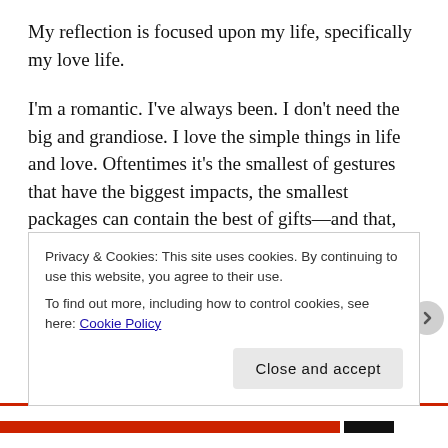My reflection is focused upon my life, specifically my love life.
I'm a romantic. I've always been. I don't need the big and grandiose. I love the simple things in life and love. Oftentimes it's the smallest of gestures that have the biggest impacts, the smallest packages can contain the best of gifts—and that, for me, brings me the greatest joy. A handbag has a price tag and can be damaged, lost, stolen, sold, or given away; sitting by my bedside holding my hand, rubbing my head, kissing me and telling me that all will be well, while I'm in the hospital fighting fear and
Privacy & Cookies: This site uses cookies. By continuing to use this website, you agree to their use.
To find out more, including how to control cookies, see here: Cookie Policy
Close and accept